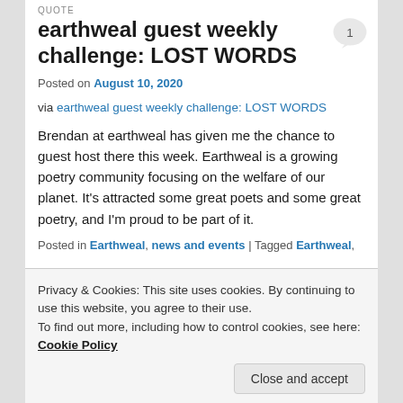QUOTE
earthweal guest weekly challenge: LOST WORDS
Posted on August 10, 2020
via earthweal guest weekly challenge: LOST WORDS
Brendan at earthweal has given me the chance to guest host there this week. Earthweal is a growing poetry community focusing on the welfare of our planet. It's attracted some great poets and some great poetry, and I'm proud to be part of it.
Posted in Earthweal, news and events | Tagged Earthweal,
Privacy & Cookies: This site uses cookies. By continuing to use this website, you agree to their use. To find out more, including how to control cookies, see here: Cookie Policy